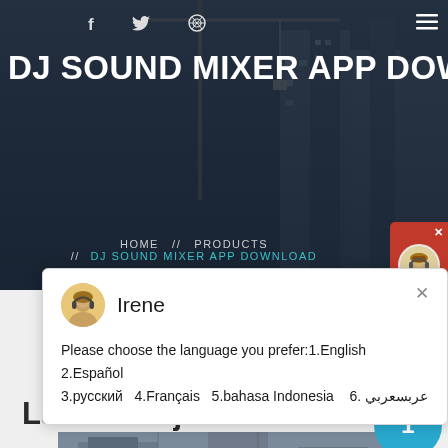DJ SOUND MIXER APP DOWNLOAD
HOME // PRODUCTS // DJ SOUND MIXER APP DOWNLOAD
[Figure (screenshot): Chat popup with avatar of Irene. Message: Please choose the language you prefer:1.English  2.Español  3.русский  4.Français  5.bahasa Indonesia  6. عربسعربي]
Latest Projects
[Figure (photo): Construction site / industrial machinery photo at the bottom of the page]